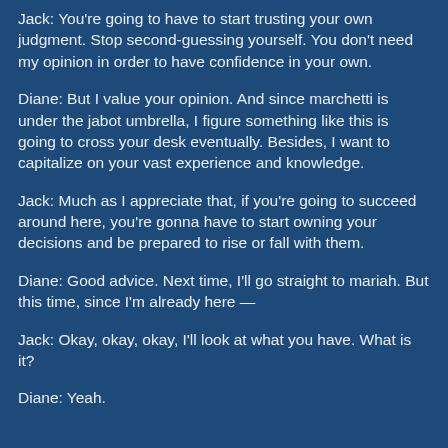Jack: You're going to have to start trusting your own judgment. Stop second-guessing yourself. You don't need my opinion in order to have confidence in your own.
Diane: But I value your opinion. And since marchetti is under the jabot umbrella, I figure something like this is going to cross your desk eventually. Besides, I want to capitalize on your vast experience and knowledge.
Jack: Much as I appreciate that, if you're going to succeed around here, you're gonna have to start owning your decisions and be prepared to rise or fall with them.
Diane: Good advice. Next time, I'll go straight to mariah. But this time, since I'm already here —
Jack: Okay, okay, okay, I'll look at what you have. What is it?
Diane: Yeah.